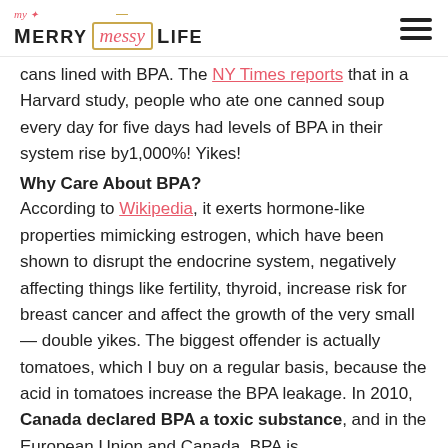My Merry Messy Life
cans lined with BPA. The NY Times reports that in a Harvard study, people who ate one canned soup every day for five days had levels of BPA in their system rise by1,000%! Yikes!
Why Care About BPA?
According to Wikipedia, it exerts hormone-like properties mimicking estrogen, which have been shown to disrupt the endocrine system, negatively affecting things like fertility, thyroid, increase risk for breast cancer and affect the growth of the very small — double yikes. The biggest offender is actually tomatoes, which I buy on a regular basis, because the acid in tomatoes increase the BPA leakage. In 2010, Canada declared BPA a toxic substance, and in the European Union and Canada, BPA is